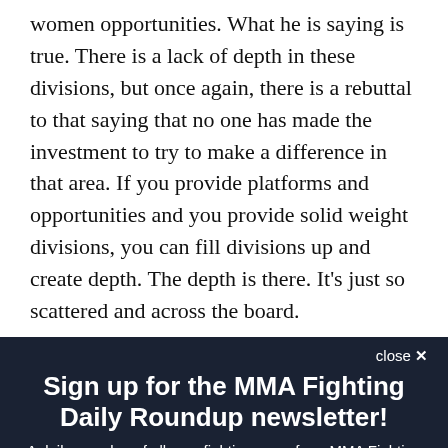women opportunities. What he is saying is true. There is a lack of depth in these divisions, but once again, there is a rebuttal to that saying that no one has made the investment to try to make a difference in that area. If you provide platforms and opportunities and you provide solid weight divisions, you can fill divisions up and create depth. The depth is there. It's just so scattered and across the board.
close ×
Sign up for the MMA Fighting Daily Roundup newsletter!
A daily roundup of all your fighting news from MMA Fighting
Email (required)
SUBSCRIBE
By submitting your email, you agree to our Terms and Privacy Notice. You can opt out at any time. This site is protected by reCAPTCHA and the Google Privacy Policy and Terms of Service apply.